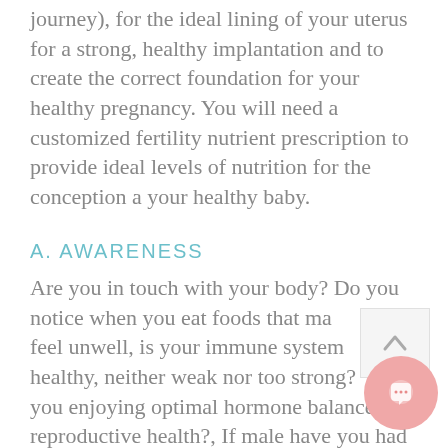journey), for the ideal lining of your uterus for a strong, healthy implantation and to create the correct foundation for your healthy pregnancy. You will need a customized fertility nutrient prescription to provide ideal levels of nutrition for the conception a your healthy baby.
A. AWARENESS
Are you in touch with your body? Do you notice when you eat foods that make you feel unwell, is your immune system healthy, neither weak nor too strong?  Are you enjoying optimal hormone balance and reproductive health?, If male have you had a semen analysis showing good levels of healthy shaped, fast swimming sperm?, if female have you identified when you are ovulating and that the